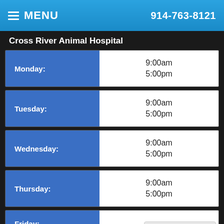MENU  914-763-8121
Cross River Animal Hospital
| Day | Hours |
| --- | --- |
| Monday: | 9:00am
5:00pm |
| Tuesday: | 9:00am
5:00pm |
| Wednesday: | 9:00am
5:00pm |
| Thursday: | 9:00am
5:00pm |
| Friday: |  |